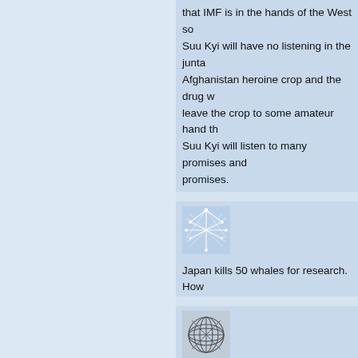that IMF is in the hands of the West so Suu Kyi will have no listening in the junta. Afghanistan heroine crop and the drug w leave the crop to some amateur hand th Suu Kyi will listen to many promises ano promises.
I thank you
Firozali A.Mulla MBA PhD
P.O.Box 6044
Dar-Es-Salaam
Tanzania
East Africa
Posted by: Firozali A.Mulla MBA PhD | C
[Figure (illustration): Abstract spider web / network pattern avatar image in light blue and white tones]
Japan kills 50 whales for research. How
Posted by: Gerard | November 18, 2007
[Figure (illustration): Abstract geometric line pattern avatar image in gray and white tones]